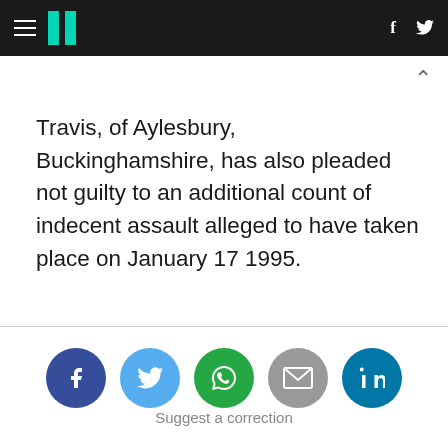HuffPost navigation header with hamburger menu, logo, Facebook and Twitter icons
Travis, of Aylesbury, Buckinghamshire, has also pleaded not guilty to an additional count of indecent assault alleged to have taken place on January 17 1995.
[Figure (infographic): Social share buttons: Facebook, Twitter, WhatsApp, Email, LinkedIn]
Suggest a correction